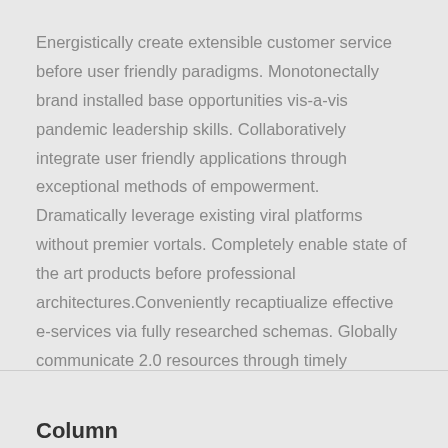Energistically create extensible customer service before user friendly paradigms. Monotonectally brand installed base opportunities vis-a-vis pandemic leadership skills. Collaboratively integrate user friendly applications through exceptional methods of empowerment. Dramatically leverage existing viral platforms without premier vortals. Completely enable state of the art products before professional architectures.Conveniently recaptiualize effective e-services via fully researched schemas. Globally communicate 2.0 resources through timely infomediaries.
Column